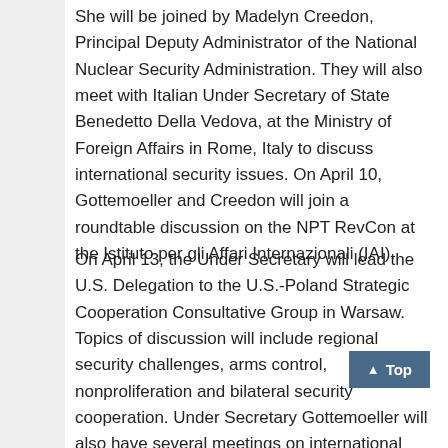She will be joined by Madelyn Creedon, Principal Deputy Administrator of the National Nuclear Security Administration. They will also meet with Italian Under Secretary of State Benedetto Della Vedova, at the Ministry of Foreign Affairs in Rome, Italy to discuss international security issues. On April 10, Gottemoeller and Creedon will join a roundtable discussion on the NPT RevCon at the Istituto per gli Affari Internazionali (IAI).
On April 13, the Under Secretary will lead the U.S. Delegation to the U.S.-Poland Strategic Cooperation Consultative Group in Warsaw. Topics of discussion will include regional security challenges, arms control, nonproliferation and bilateral security cooperation. Under Secretary Gottemoeller will also have several meetings on international security with her bilateral counterparts. She will then attend a dinner hosted by Ambassador Mull in honor of Polish women working in the fields of security and foreign policy.
From April 14-17, Under Secretary Gottemoeller will visit the Baltic States. In her bilateral meetings, she will discuss...